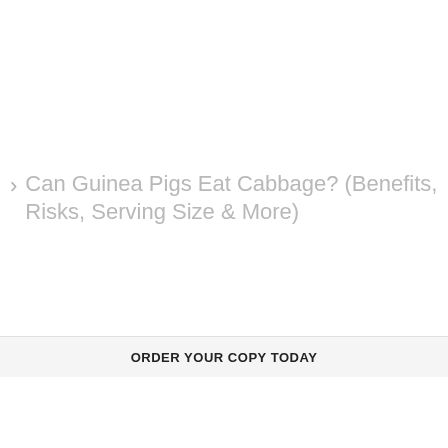Can Guinea Pigs Eat Cabbage? (Benefits, Risks, Serving Size & More)
ORDER YOUR COPY TODAY
[Figure (other): Advertisement banner for BELK featuring denim apparel imagery, brand name BELK in blue, tagline 'Denim all day.', URL www.belk.com, a circular navigation button with right chevron, and a close button]